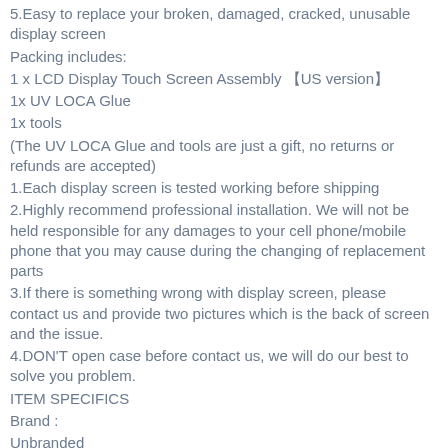5.Easy to replace your broken, damaged, cracked, unusable display screen
Packing includes:
1 x LCD Display Touch Screen Assembly 【US version】
1x UV LOCA Glue
1x tools
(The UV LOCA Glue and tools are just a gift, no returns or refunds are accepted)
1.Each display screen is tested working before shipping
2.Highly recommend professional installation. We will not be held responsible for any damages to your cell phone/mobile phone that you may cause during the changing of replacement parts
3.If there is something wrong with display screen, please contact us and provide two pictures which is the back of screen and the issue.
4.DON'T open case before contact us, we will do our best to solve you problem.
ITEM SPECIFICS
Brand :
Unbranded